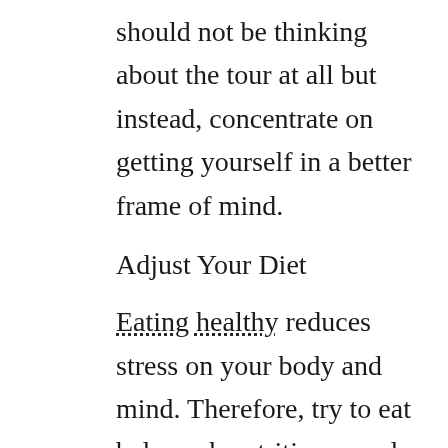should not be thinking about the tour at all but instead, concentrate on getting yourself in a better frame of mind.
Adjust Your Diet
Eating healthy reduces stress on your body and mind. Therefore, try to eat balanced, nutritious meals any time you can. Remember that sugar, caffeine and carbohydrates can all make you more anxious than you need to be.
Reach Out